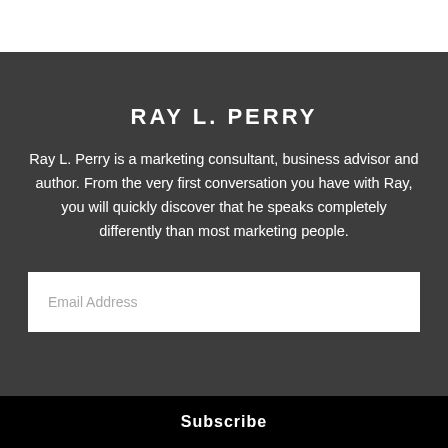RAY L. PERRY
Ray L. Perry is a marketing consultant, business advisor and author. From the very first conversation you have with Ray, you will quickly discover that he speaks completely differently than most marketing people.
Email Address
Subscribe